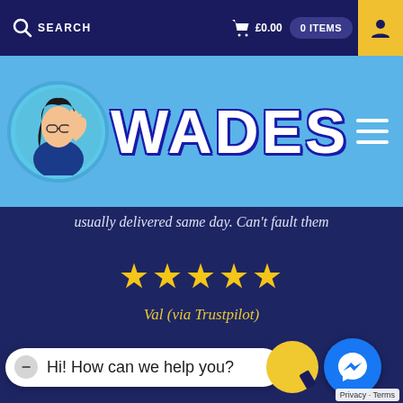SEARCH   £0.00   0 ITEMS
[Figure (logo): Wades logo with cartoon mascot and blue header band showing WADES text]
usually delivered same day. Can't fault them
[Figure (infographic): Five yellow star rating]
Val (via Trustpilot)
Hi! How can we help you?
Privacy · Terms